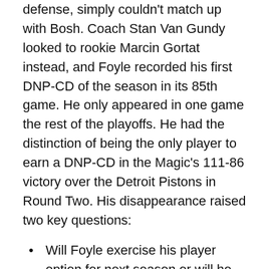defense, simply couldn't match up with Bosh. Coach Stan Van Gundy looked to rookie Marcin Gortat instead, and Foyle recorded his first DNP-CD of the season in its 85th game. He only appeared in one game the rest of the playoffs. He had the distinction of being the only player to earn a DNP-CD in the Magic's 111-86 victory over the Detroit Pistons in Round Two. His disappearance raised two key questions:
Will Foyle exercise his player option for next season or will he instead look to sign with a team that can put him in the rotation?
Where the heck was Marcin Gortat all this time?
It appears as though Foyle plans to return next season, if for nothing else than because no other team can offer him playing time. He'll probably play a reduced